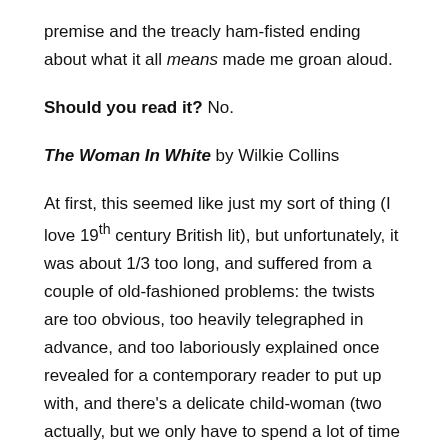premise and the treacly ham-fisted ending about what it all means made me groan aloud.
Should you read it? No.
The Woman In White by Wilkie Collins
At first, this seemed like just my sort of thing (I love 19th century British lit), but unfortunately, it was about 1/3 too long, and suffered from a couple of old-fashioned problems: the twists are too obvious, too heavily telegraphed in advance, and too laboriously explained once revealed for a contemporary reader to put up with, and there's a delicate child-woman (two actually, but we only have to spend a lot of time with one). Nothing annoys me more than a delicate child-woman.
Should you read it? No.